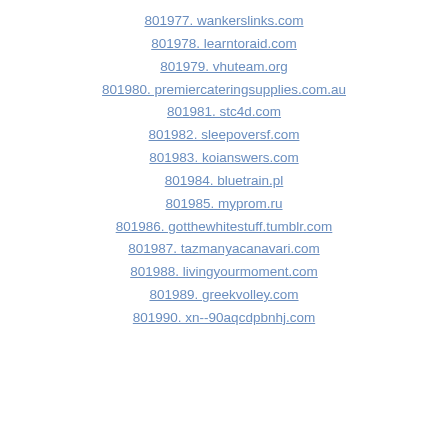801977. wankerslinks.com
801978. learntoraid.com
801979. vhuteam.org
801980. premiercateringsupplies.com.au
801981. stc4d.com
801982. sleepoversf.com
801983. koianswers.com
801984. bluetrain.pl
801985. myprom.ru
801986. gotthewhitestuff.tumblr.com
801987. tazmanyacanavari.com
801988. livingyourmoment.com
801989. greekvolley.com
801990. xn--90aqcdpbnhj.com